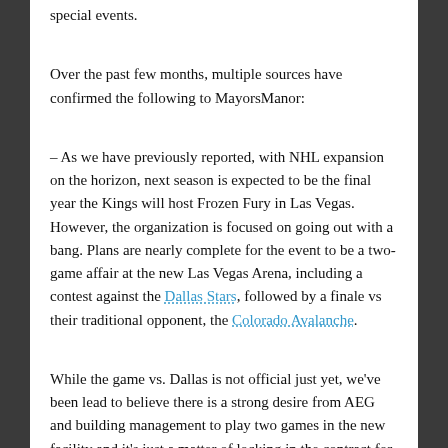special events.
Over the past few months, multiple sources have confirmed the following to MayorsManor:
– As we have previously reported, with NHL expansion on the horizon, next season is expected to be the final year the Kings will host Frozen Fury in Las Vegas. However, the organization is focused on going out with a bang. Plans are nearly complete for the event to be a two-game affair at the new Las Vegas Arena, including a contest against the Dallas Stars, followed by a finale vs their traditional opponent, the Colorado Avalanche.
While the game vs. Dallas is not official just yet, we've been lead to believe there is a strong desire from AEG and building management to play two games in the new facility and it's just a matter of locking in the contract for the second team. In the nearly 20-year history of the event, the Kings have twice doubled